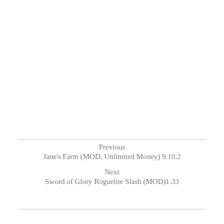Previous
Jane's Farm (MOD, Unlimited Money) 9.10.2
Next
Sword of Glory Roguelite Slash (MOD)1.33